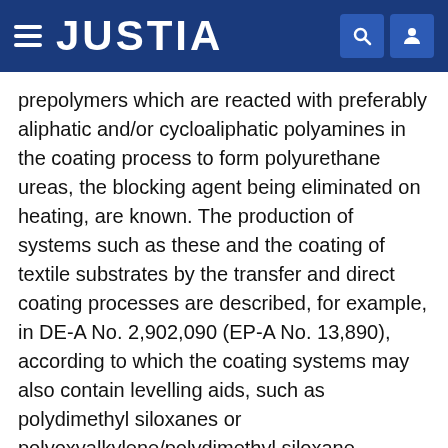JUSTIA
prepolymers which are reacted with preferably aliphatic and/or cycloaliphatic polyamines in the coating process to form polyurethane ureas, the blocking agent being eliminated on heating, are known. The production of systems such as these and the coating of textile substrates by the transfer and direct coating processes are described, for example, in DE-A No. 2,902,090 (EP-A No. 13,890), according to which the coating systems may also contain levelling aids, such as polydimethyl siloxanes or polyoxyalkylene/polydimethyl siloxane copolymers.
The difficulties in the form of blisters, bubbles and levelling faults encountered in the direct coating of blocked, high-solids, PU reactive systems onto textile substrates, such as woven fabrics, knitted fabrics and nonwovens of a variety of fiber materials, particularly on